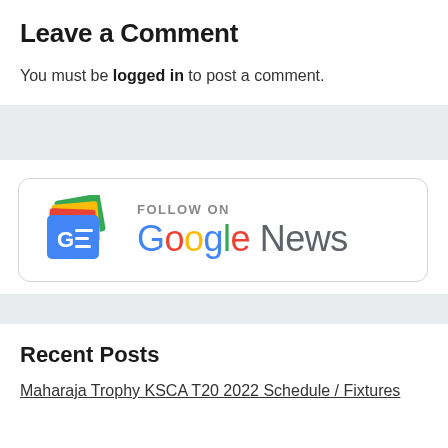Leave a Comment
You must be logged in to post a comment.
[Figure (logo): Google News follow badge with Google News icon and text 'FOLLOW ON Google News']
Recent Posts
Maharaja Trophy KSCA T20 2022 Schedule / Fixtures